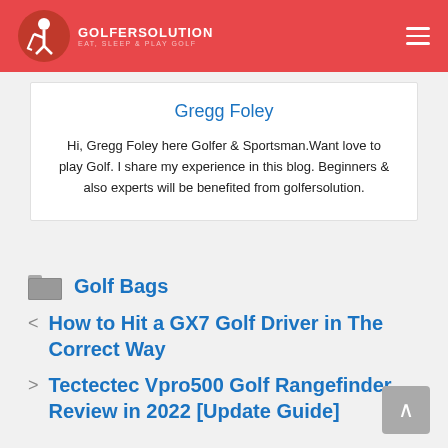GOLFERSOLUTION — EAT, SLEEP & PLAY GOLF
Gregg Foley
Hi, Gregg Foley here Golfer & Sportsman. Want love to play Golf. I share my experience in this blog. Beginners & also experts will be benefited from golfersolution.
Golf Bags
How to Hit a GX7 Golf Driver in The Correct Way
Tectectec Vpro500 Golf Rangefinder Review in 2022 [Update Guide]